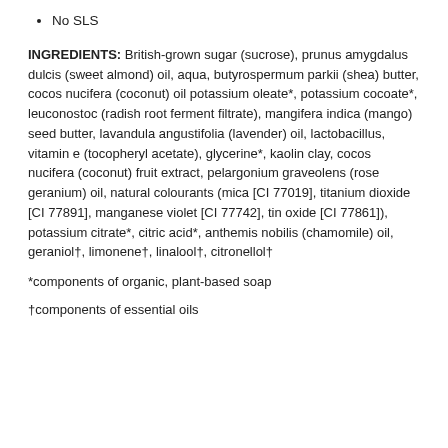No SLS
INGREDIENTS: British-grown sugar (sucrose), prunus amygdalus dulcis (sweet almond) oil, aqua, butyrospermum parkii (shea) butter, cocos nucifera (coconut) oil potassium oleate*, potassium cocoate*, leuconostoc (radish root ferment filtrate), mangifera indica (mango) seed butter, lavandula angustifolia (lavender) oil, lactobacillus, vitamin e (tocopheryl acetate), glycerine*, kaolin clay, cocos nucifera (coconut) fruit extract, pelargonium graveolens (rose geranium) oil, natural colourants (mica [CI 77019], titanium dioxide [CI 77891], manganese violet [CI 77742], tin oxide [CI 77861]), potassium citrate*, citric acid*, anthemis nobilis (chamomile) oil, geraniol†, limonene†, linalool†, citronellol†
*components of organic, plant-based soap
†components of essential oils